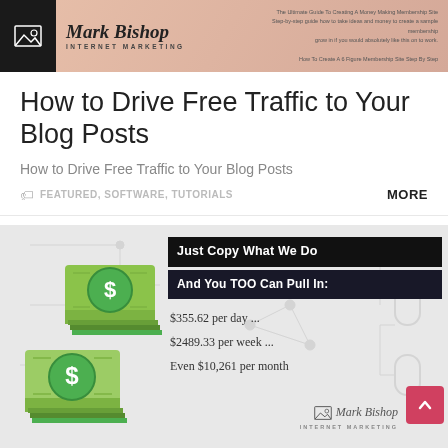[Figure (logo): Mark Bishop Internet Marketing logo banner with photo background]
How to Drive Free Traffic to Your Blog Posts
How to Drive Free Traffic to Your Blog Posts
FEATURED, SOFTWARE, TUTORIALS    MORE
[Figure (infographic): Promotional infographic with stacks of money graphic and text: Just Copy What We Do And You TOO Can Pull In: $355.62 per day ... $2489.33 per week ... Even $10,261 per month. Mark Bishop Internet Marketing logo at bottom right.]